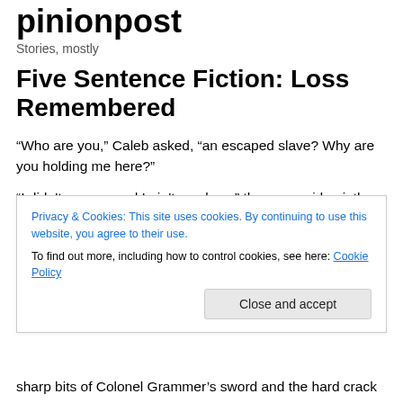pinionpost
Stories, mostly
Five Sentence Fiction: Loss Remembered
“Who are you,” Caleb asked, “an escaped slave? Why are you holding me here?”
“I didn’t escape and I ain’t no slave,” the man said quietly, turning from the mirror, “and I ain’t holding you so much as
Privacy & Cookies: This site uses cookies. By continuing to use this website, you agree to their use.
To find out more, including how to control cookies, see here: Cookie Policy
sharp bits of Colonel Grammer’s sword and the hard crack